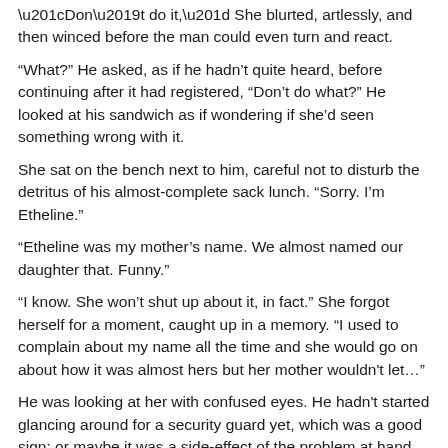“Don’t do it,” She blurted, artlessly, and then winced before the man could even turn and react.
“What?” He asked, as if he hadn’t quite heard, before continuing after it had registered, “Don’t do what?” He looked at his sandwich as if wondering if she’d seen something wrong with it.
She sat on the bench next to him, careful not to disturb the detritus of his almost-complete sack lunch. “Sorry. I’m Etheline.”
“Etheline was my mother’s name. We almost named our daughter that. Funny.”
“I know. She won’t shut up about it, in fact.” She forgot herself for a moment, caught up in a memory. “I used to complain about my name all the time and she would go on about how it was almost hers but her mother wouldn't let…”
He was looking at her with confused eyes. He hadn't started glancing around for a security guard yet, which was a good sign; or maybe it was a side-effect of the problem at hand.